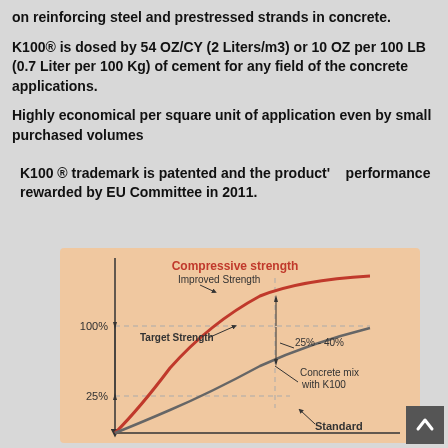on reinforcing steel and prestressed strands in concrete.
K100® is dosed by 54 OZ/CY (2 Liters/m3) or 10 OZ per 100 LB (0.7 Liter per 100 Kg) of cement for any field of the concrete applications.
Highly economical per square unit of application even by small purchased volumes
K100 ® trademark is patented and the product'   performance rewarded by EU Committee in 2011.
[Figure (continuous-plot): Graph showing Compressive strength curves. Red curve labeled 'Improved Strength' (Concrete mix with K100) rises steeply. Gray curve labeled 'Standard' rises more gradually. Y-axis labels: 100% at target strength level, 25% near bottom. Annotation '25% - 40%' shows improvement range between the two curves. Labels: 'Target Strength', 'Improved Strength', 'Concrete mix with K100', 'Standard'.]